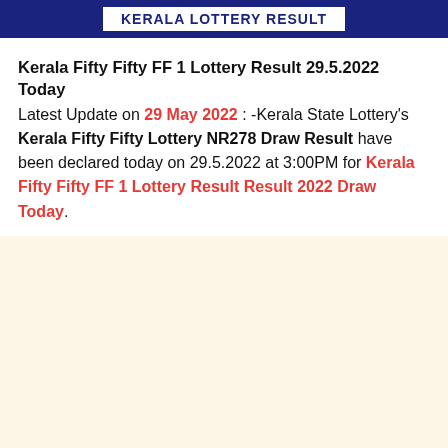KERALA LOTTERY RESULT
Kerala Fifty Fifty FF 1 Lottery Result 29.5.2022 Today
Latest Update on 29 May 2022 : -Kerala State Lottery's Kerala Fifty Fifty Lottery NR278 Draw Result have been declared today on 29.5.2022 at 3:00PM for Kerala Fifty Fifty FF 1 Lottery Result Result 2022 Draw Today.